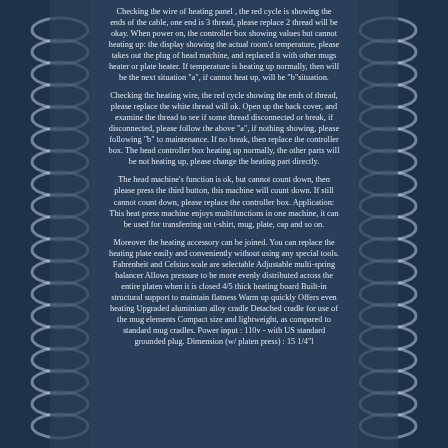Checking the wire of heating panel , the red cycle is showing the ends of the cable, one end is 3 thread, please replace 2 thread will be okay. When power on, the controller box showing values but cannot heating up: the display showing the actual room's temperature, please takes out the plug of head machine, and replaced it with other mugs heater or plate heater. If temperature is heating up normally, then will be the next situation "a", if cannot heat up, will be "b"situation.
Checking the heating wire, the red cycle showing the ends of thread, please replace the white thread will ok. Open up the back cover, and examine the thread to see if some thread disconnected or break, if disconnected, please follow the above "a", if nothing showing, please following "b" to maintenance. If no break, then replace the controller box. The head controller box heating up normally, the other parts will be not heating up, please change the heating part directly.
The head machine's function is ok, but cannot count down, then please press the third button, this machine will count down. If still cannot count down, please replace the controller box. Application: This heat press machine enjoys multifunctions in one machine, it can be used for transferring on t-shirt, mug, plate, cap and so on.
Moreover the heating accessory can be joined. You can replace the heating plate easily and conveniently without using any special tools. Fahrenheit and Celsius scale are selectable Adjustable multi-spring balancer Allows pressure to be more evenly distributed across the entire platen when it is closed 4/5 thick heating board Built-in structural support to maintain flatness Warm up quickly Offers even heating Upgraded aluminium alloy cradle Detached cradle for use of the mug elements Compact size and lightweight, as compared to standard mug cradles. Power input : 110v - with US standard grounded plug. Dimension (w/ platen press) : 15 1/4"l